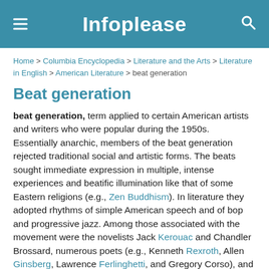Infoplease
Home > Columbia Encyclopedia > Literature and the Arts > Literature in English > American Literature > beat generation
Beat generation
beat generation, term applied to certain American artists and writers who were popular during the 1950s. Essentially anarchic, members of the beat generation rejected traditional social and artistic forms. The beats sought immediate expression in multiple, intense experiences and beatific illumination like that of some Eastern religions (e.g., Zen Buddhism). In literature they adopted rhythms of simple American speech and of bop and progressive jazz. Among those associated with the movement were the novelists Jack Kerouac and Chandler Brossard, numerous poets (e.g., Kenneth Rexroth, Allen Ginsberg, Lawrence Ferlinghetti, and Gregory Corso), and others, many of